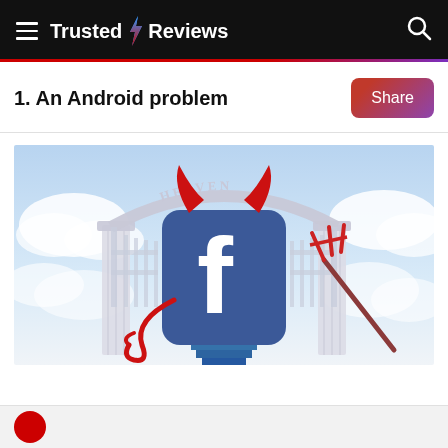Trusted Reviews
1. An Android problem
[Figure (illustration): Facebook logo depicted as a devil with red horns, a tail, and a pitchfork, standing at the gates of Heaven. The gates have 'HEAVEN' written in an arch above. The background shows a cloudy sky with white light.]
[Figure (photo): Bottom strip showing start of another image with a red circle element visible at bottom left.]